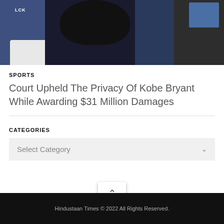[Figure (photo): Photo of people in sports jerseys sitting in stadium seats, cropped to show upper portion]
SPORTS
Court Upheld The Privacy Of Kobe Bryant While Awarding $31 Million Damages
CATEGORIES
Select Category
Hindustaan Times © 2022  All Rights Reserved.